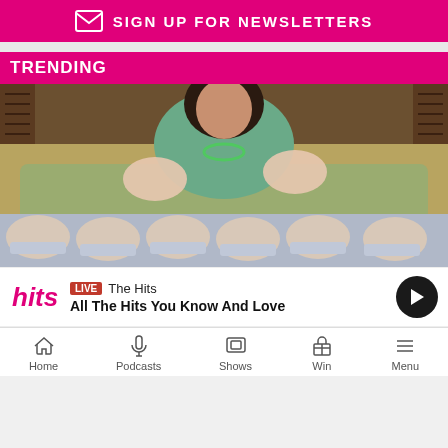[Figure (other): Pink newsletter signup banner with envelope icon and text SIGN UP FOR NEWSLETTERS]
TRENDING
[Figure (photo): A woman with dark hair holding two newborn babies on a bed, with six more newborns swaddled in blankets laid out in a row in the foreground]
LIVE The Hits
All The Hits You Know And Love
Home | Podcasts | Shows | Win | Menu